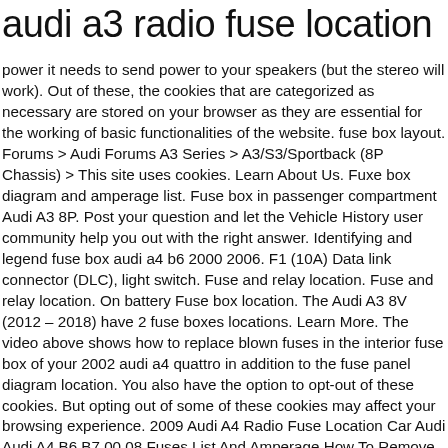audi a3 radio fuse location
power it needs to send power to your speakers (but the stereo will work). Out of these, the cookies that are categorized as necessary are stored on your browser as they are essential for the working of basic functionalities of the website. fuse box layout. Forums > Audi Forums A3 Series > A3/S3/Sportback (8P Chassis) > This site uses cookies. Learn About Us. Fuxe box diagram and amperage list. Fuse box in passenger compartment Audi A3 8P. Post your question and let the Vehicle History user community help you out with the right answer. Identifying and legend fuse box audi a4 b6 2000 2006. F1 (10A) Data link connector (DLC), light switch. Fuse and relay location. Fuse and relay location. On battery Fuse box location. The Audi A3 8V (2012 – 2018) have 2 fuse boxes locations. Learn More. The video above shows how to replace blown fuses in the interior fuse box of your 2002 audi a4 quattro in addition to the fuse panel diagram location. You also have the option to opt-out of these cookies. But opting out of some of these cookies may affect your browsing experience. 2009 Audi A4 Radio Fuse Location Car Audi Audi A4 B6 B7 00 08 Fuses List And Amperage How To Remove Alarm Siren Audi A4 S4 B6 B7 2001 2008 Total Technik Audi A4 B5 1994 To 2001 Fuses List And Amperage. 97 Accord Remote Not Turning